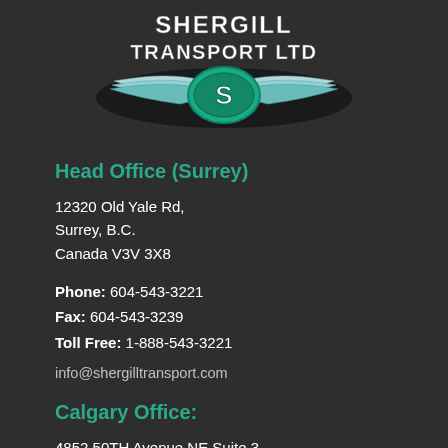[Figure (logo): Shergill Transport Ltd logo with stylized wings and letter S]
Head Office (Surrey)
12320 Old Yale Rd,
Surrey, B.C.
Canada V3V 3X8
Phone: 604-543-3221
Fax: 604-543-3239
Toll Free: 1-888-543-3221
info@shergilltransport.com
Calgary Office:
4852 50TH Avenue NE Suite 3
Calgary, AB